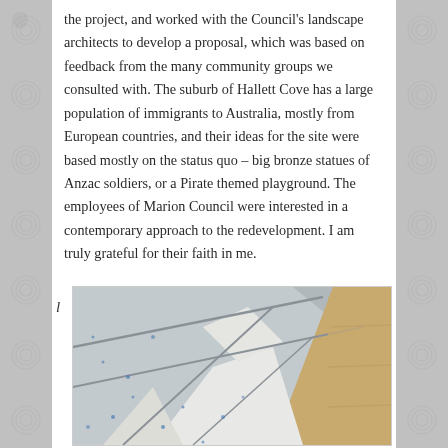the project, and worked with the Council's landscape architects to develop a proposal, which was based on feedback from the many community groups we consulted with. The suburb of Hallett Cove has a large population of immigrants to Australia, mostly from European countries, and their ideas for the site were based mostly on the status quo – big bronze statues of Anzac soldiers, or a Pirate themed playground. The employees of Marion Council were interested in a contemporary approach to the redevelopment. I am truly grateful for their faith in me.
[Figure (photo): Close-up photograph of geometric concrete or terrazzo paving with blue speckled texture, showing angular white stone shapes converging with sandy/golden stone sections.]